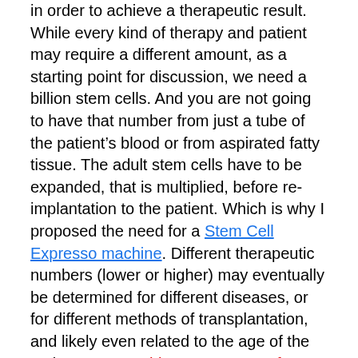in order to achieve a therapeutic result. While every kind of therapy and patient may require a different amount, as a starting point for discussion, we need a billion stem cells. And you are not going to have that number from just a tube of the patient's blood or from aspirated fatty tissue. The adult stem cells have to be expanded, that is multiplied, before re-implantation to the patient. Which is why I proposed the need for a Stem Cell Expresso machine. Different therapeutic numbers (lower or higher) may eventually be determined for different diseases, or for different methods of transplantation, and likely even related to the age of the patient. But two things we can say for sure. First, if we are talking about a tube of the patient's blood or a few cc's of adipose tissue, there is likely to be an insufficient amount of stem cells collected, and ex vivo expansion of the cells will have to be undertaken. Second, if an attempted use of autologous stem cells did not